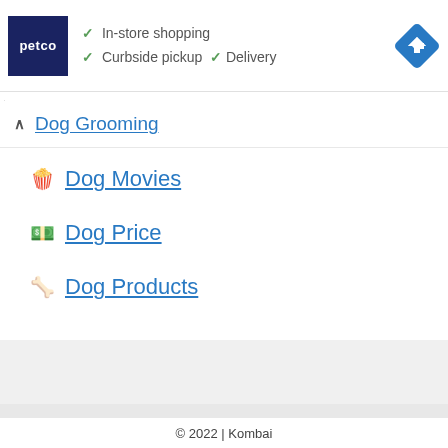[Figure (screenshot): Petco advertisement banner with logo, checkmarks for In-store shopping, Curbside pickup, Delivery, and a navigation icon]
Dog Grooming
🎬 Dog Movies
💵 Dog Price
🦴 Dog Products
© 2022 | Kombai